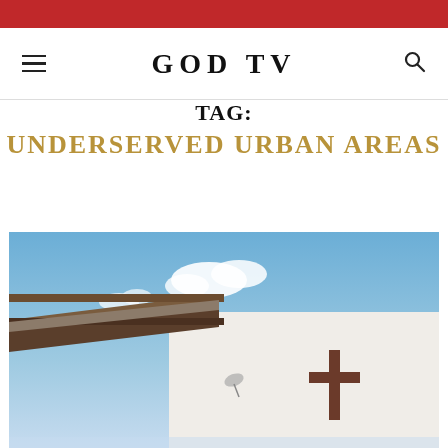GOD TV
TAG:
UNDERSERVED URBAN AREAS
[Figure (photo): Photo of a white church building with a brown wooden cross mounted on the exterior wall, dark tiled roof eaves, and a blue sky with white clouds in the background.]